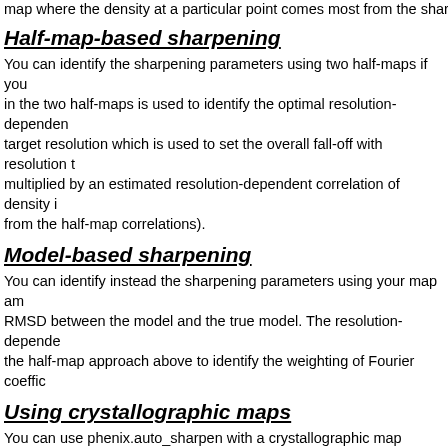map where the density at a particular point comes most from the shar...
Half-map-based sharpening
You can identify the sharpening parameters using two half-maps if you in the two half-maps is used to identify the optimal resolution-dependen target resolution which is used to set the overall fall-off with resolution t multiplied by an estimated resolution-dependent correlation of density i from the half-map correlations).
Model-based sharpening
You can identify instead the sharpening parameters using your map am RMSD between the model and the true model. The resolution-depende the half-map approach above to identify the weighting of Fourier coeffic
Using crystallographic maps
You can use phenix.auto_sharpen with a crystallographic map (represe
Shifting the map to the origin
Most crystallographic maps have the origin at the corner of the map ( g orgin in the middle of the map. An output map with the origin shifted to
Output files from auto_sharpen